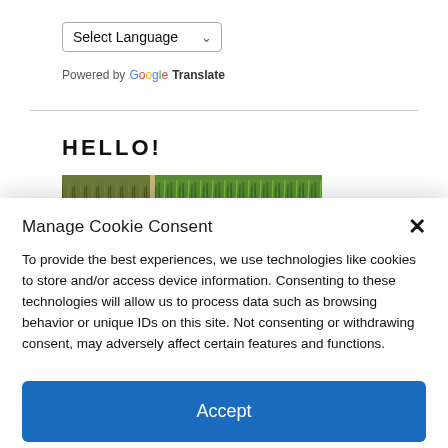Select Language
Powered by Google Translate
HELLO!
[Figure (photo): Photograph of green grass field, cropped horizontal strip]
Manage Cookie Consent
To provide the best experiences, we use technologies like cookies to store and/or access device information. Consenting to these technologies will allow us to process data such as browsing behavior or unique IDs on this site. Not consenting or withdrawing consent, may adversely affect certain features and functions.
Accept
Cookie Policy   Disclosure Policy